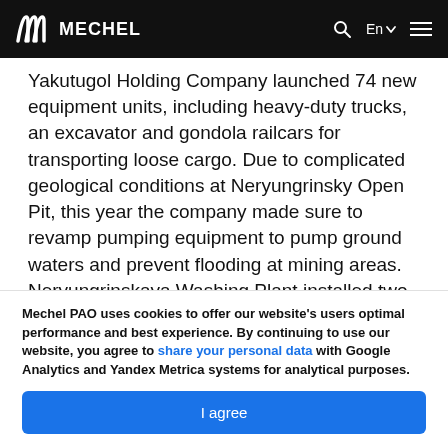MECHEL
Yakutugol Holding Company launched 74 new equipment units, including heavy-duty trucks, an excavator and gondola railcars for transporting loose cargo. Due to complicated geological conditions at Neryungrinsky Open Pit, this year the company made sure to revamp pumping equipment to pump ground waters and prevent flooding at mining areas. Neryungrinskaya Washing Plant installed two new centrifuges to
Mechel PAO uses cookies to offer our website's users optimal performance and best experience. By continuing to use our website, you agree to share your personal data with Google Analytics and Yandex Metrica systems for analytical purposes.
I agree